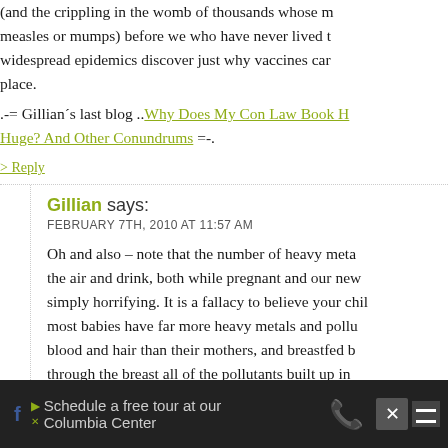(and the crippling in the womb of thousands whose mothers caught measles or mumps) before we who have never lived through widespread epidemics discover just why vaccines came into place.
.-= Gillian´s last blog ..Why Does My Con Law Book Have To Be Huge? And Other Conundrums =-.
> Reply
Gillian says:
FEBRUARY 7TH, 2010 AT 11:57 AM
Oh and also – note that the number of heavy metals we breathe in the air and drink, both while pregnant and our newborns eat is simply horrifying. It is a fallacy to believe your child is "pure" – most babies have far more heavy metals and pollutants in their blood and hair than their mothers, and breastfed babies receive through the breast all of the pollutants built up in the mother's cells over her lifetime. These statistics are proven and real and I wish people were more up in arms about this, than...
Schedule a free tour at our Columbia Center